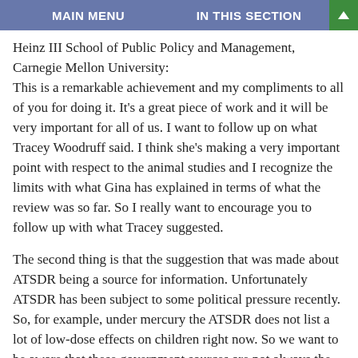MAIN MENU    IN THIS SECTION
Heinz III School of Public Policy and Management, Carnegie Mellon University:
This is a remarkable achievement and my compliments to all of you for doing it. It's a great piece of work and it will be very important for all of us. I want to follow up on what Tracey Woodruff said. I think she's making a very important point with respect to the animal studies and I recognize the limits with what Gina has explained in terms of what the review was so far. So I really want to encourage you to follow up with what Tracey suggested.
The second thing is that the suggestion that was made about ATSDR being a source for information. Unfortunately ATSDR has been subject to some political pressure recently. So, for example, under mercury the ATSDR does not list a lot of low-dose effects on children right now. So we want to be aware that these government sources are not always the best on this sort of information.
Finally, with respect to the breast and prostate cancer, I would respectfully point out that the Veteran's administration